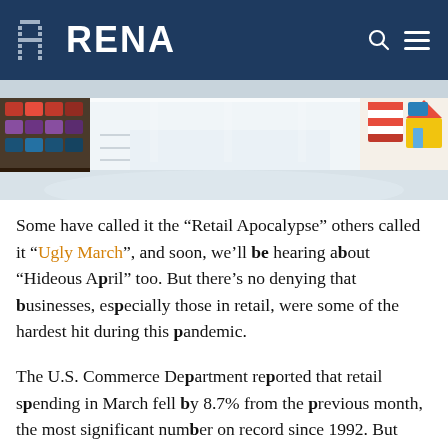ARENA
[Figure (photo): Interior of a retail store showing product shelves and colorful merchandise displays]
Some have called it the “Retail Apocalypse” others called it “Ugly March”, and soon, we’ll be hearing about “Hideous April” too. But there’s no denying that businesses, especially those in retail, were some of the hardest hit during this pandemic.
The U.S. Commerce Department reported that retail spending in March fell by 8.7% from the previous month, the most significant number on record since 1992. But